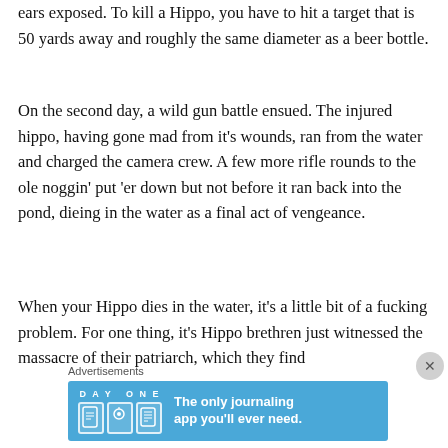ears exposed. To kill a Hippo, you have to hit a target that is 50 yards away and roughly the same diameter as a beer bottle.
On the second day, a wild gun battle ensued. The injured hippo, having gone mad from it's wounds, ran from the water and charged the camera crew. A few more rifle rounds to the ole noggin' put 'er down but not before it ran back into the pond, dieing in the water as a final act of vengeance.
When your Hippo dies in the water, it's a little bit of a fucking problem. For one thing, it's Hippo brethren just witnessed the massacre of their patriarch, which they find
Advertisements
[Figure (other): DAY ONE journaling app advertisement banner with blue background, app icons, and text 'The only journaling app you'll ever need.']